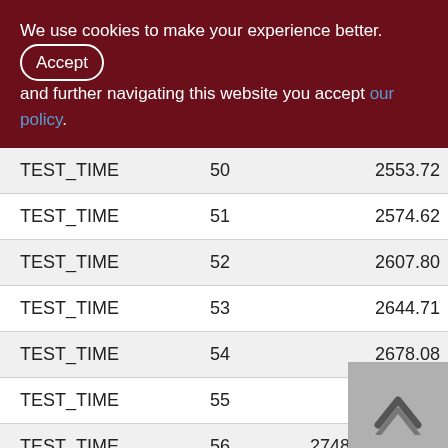We use cookies to make your experience better. By accepting and further navigating this website you accept our policy.
|  |  |  |
| --- | --- | --- |
| TEST_TIME | 50 | 2553.72 |
| TEST_TIME | 51 | 2574.62 |
| TEST_TIME | 52 | 2607.80 |
| TEST_TIME | 53 | 2644.71 |
| TEST_TIME | 54 | 2678.08 |
| TEST_TIME | 55 | 2731.40 |
| TEST_TIME | 56 | 2748.10 |
| TEST_TIME | 57 | 2774.65 |